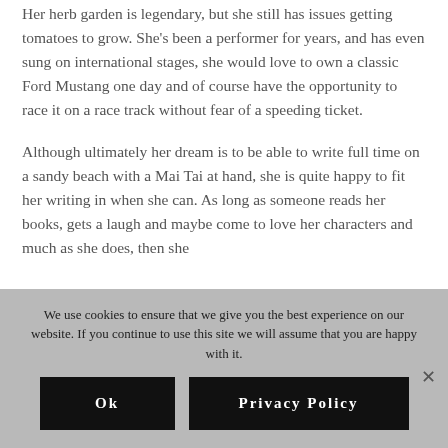Outside of writing, Maia loves to eat, so she loves to cook! Her herb garden is legendary, but she still has issues getting tomatoes to grow.  She's been a performer for years, and has even sung on international stages, she would love to own a classic Ford Mustang one day and of course have the opportunity to race it on a race track without fear of a speeding ticket.
Although ultimately her dream is to be able to write full time on a sandy beach with a Mai Tai at hand, she is quite happy to fit her writing in when she can.  As long as someone reads her books, gets a laugh and maybe come to love her characters and much as she does, then she
We use cookies to ensure that we give you the best experience on our website. If you continue to use this site we will assume that you are happy with it.
Ok   Privacy Policy